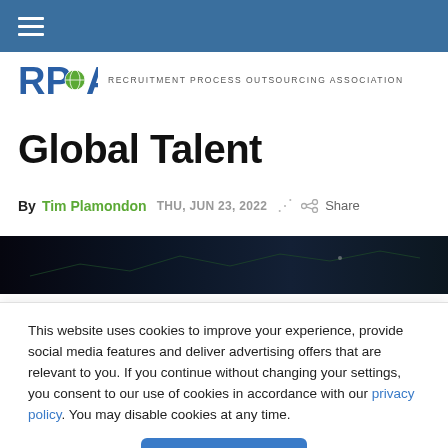[Figure (logo): RPOA logo with text: RECRUITMENT PROCESS OUTSOURCING ASSOCIATION]
Global Talent
By Tim Plamondon  THU, JUN 23, 2022  Share
[Figure (photo): Dark hero image strip showing a blurred network or financial data visualization]
This website uses cookies to improve your experience, provide social media features and deliver advertising offers that are relevant to you. If you continue without changing your settings, you consent to our use of cookies in accordance with our privacy policy. You may disable cookies at any time.
Accept